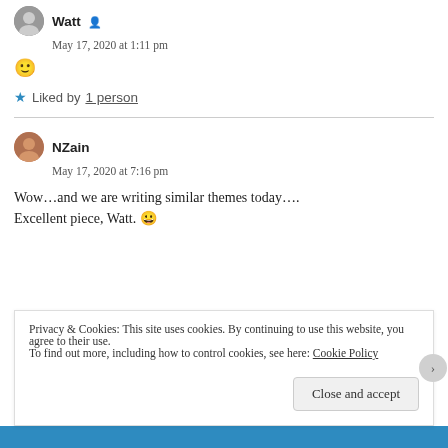Watt
May 17, 2020 at 1:11 pm
🙂
★ Liked by 1 person
NZain
May 17, 2020 at 7:16 pm
Wow…and we are writing similar themes today…. Excellent piece, Watt. 😀
Privacy & Cookies: This site uses cookies. By continuing to use this website, you agree to their use. To find out more, including how to control cookies, see here: Cookie Policy
Close and accept